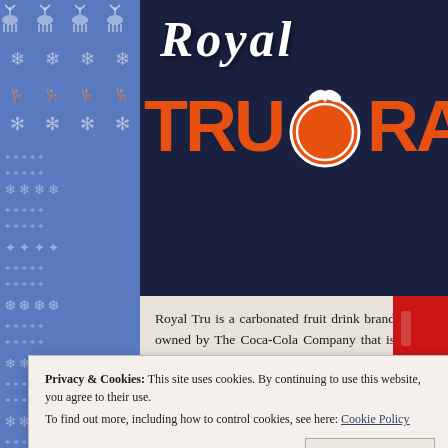[Figure (photo): Royal TruOrange product branding on dark navy background — white Gothic-script 'Royal' text at top, large bold orange 'TRUORAN' text with an orange fruit logo replacing the letter O, partially cropped on right side.]
Royal Tru is a carbonated fruit drink brand owned by The Coca-Cola Company that is only available in the Philippines. It also uses the same styling as its Coca-Cola global cousin Fanta. It was introduced in 1922 by the San Miguel Brewery as their first non-alcoholic
Privacy & Cookies: This site uses cookies. By continuing to use this website, you agree to their use.
To find out more, including how to control cookies, see here: Cookie Policy
Close and accept